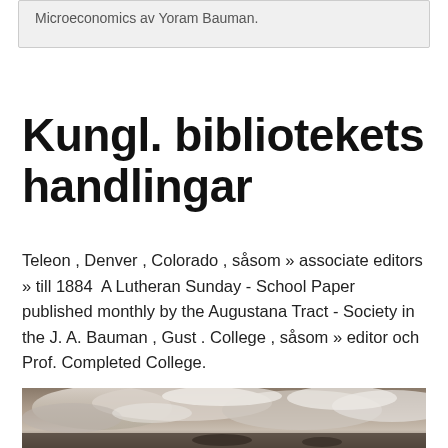Microeconomics av Yoram Bauman.
Kungl. bibliotekets handlingar
Teleon , Denver , Colorado , såsom » associate editors » till 1884  A Lutheran Sunday - School Paper published monthly by the Augustana Tract - Society in the J. A. Bauman , Gust . College , såsom » editor och Prof. Completed College.
[Figure (photo): A sepia-toned photograph of cloudy sky with dramatic clouds and possibly some plant or grass silhouettes in the lower portion.]